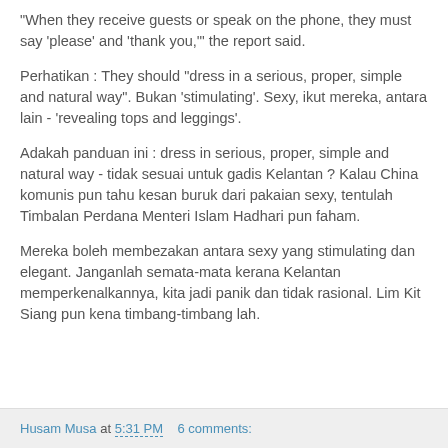"When they receive guests or speak on the phone, they must say 'please' and 'thank you,'" the report said.
Perhatikan : They should "dress in a serious, proper, simple and natural way". Bukan 'stimulating'. Sexy, ikut mereka, antara lain - 'revealing tops and leggings'.
Adakah panduan ini : dress in serious, proper, simple and natural way - tidak sesuai untuk gadis Kelantan ? Kalau China komunis pun tahu kesan buruk dari pakaian sexy, tentulah Timbalan Perdana Menteri Islam Hadhari pun faham.
Mereka boleh membezakan antara sexy yang stimulating dan elegant. Janganlah semata-mata kerana Kelantan memperkenalkannya, kita jadi panik dan tidak rasional. Lim Kit Siang pun kena timbang-timbang lah.
Husam Musa at 5:31 PM   6 comments: